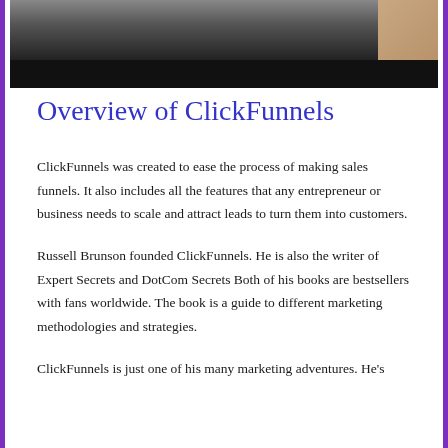[Figure (photo): Top portion of a photo showing a person, with a black bar below it. The upper part shows a figure in dark clothing with a light blue section visible on the right side.]
Overview of ClickFunnels
ClickFunnels was created to ease the process of making sales funnels. It also includes all the features that any entrepreneur or business needs to scale and attract leads to turn them into customers.
Russell Brunson founded ClickFunnels. He is also the writer of Expert Secrets and DotCom Secrets Both of his books are bestsellers with fans worldwide. The book is a guide to different marketing methodologies and strategies.
ClickFunnels is just one of his many marketing adventures. He's